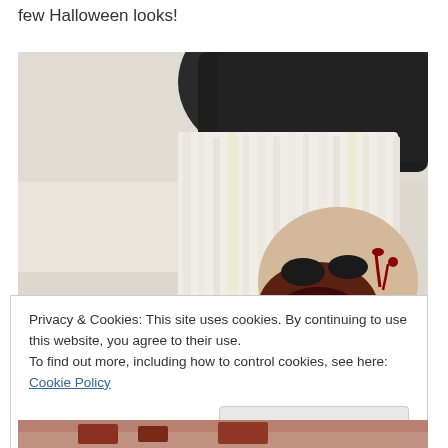few Halloween looks!
[Figure (photo): Person with white/platinum blonde hair wearing a dark black hood, face inverted/tilted showing zombie-like Halloween makeup with fake blood around the mouth and face, white background]
Privacy & Cookies: This site uses cookies. By continuing to use this website, you agree to their use.
To find out more, including how to control cookies, see here: Cookie Policy
Close and accept
[Figure (photo): Bottom portion of another Halloween look photo, showing reddish/bloody makeup details]